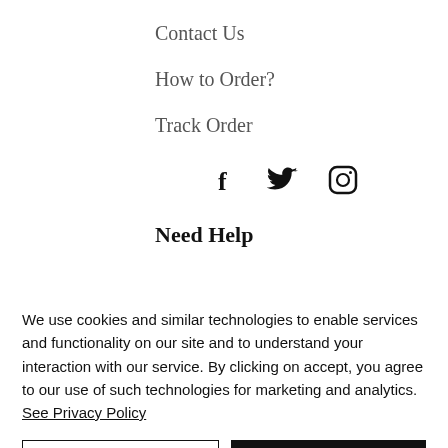Contact Us
How to Order?
Track Order
[Figure (infographic): Social media icons: Facebook, Twitter, Instagram]
Need Help
[Figure (infographic): Phone handset icon]
+919462682335,
We use cookies and similar technologies to enable services and functionality on our site and to understand your interaction with our service. By clicking on accept, you agree to our use of such technologies for marketing and analytics. See Privacy Policy